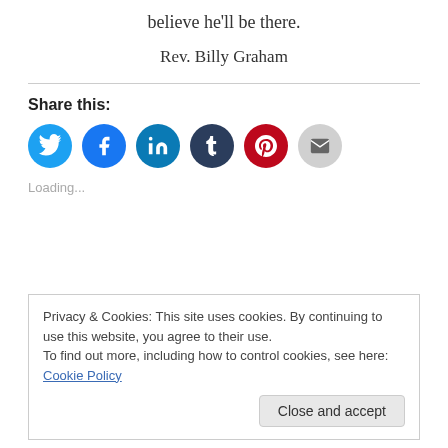believe he'll be there.
Rev. Billy Graham
Share this:
[Figure (infographic): Social sharing icons: Twitter (blue), Facebook (blue), LinkedIn (dark blue), Tumblr (dark navy), Pinterest (red), Email (gray)]
Loading...
Privacy & Cookies: This site uses cookies. By continuing to use this website, you agree to their use.
To find out more, including how to control cookies, see here: Cookie Policy